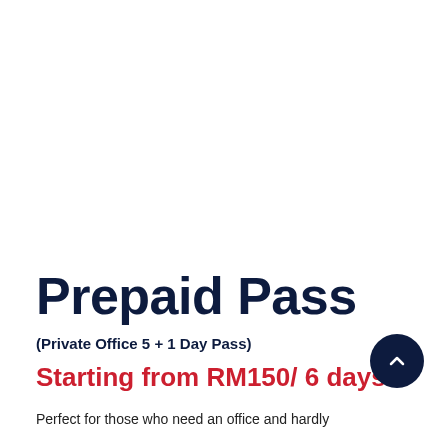Prepaid Pass
(Private Office 5 + 1 Day Pass)
Starting from RM150/ 6 days
Perfect for those who need an office and hardly